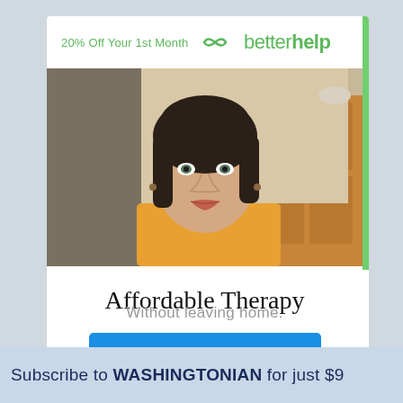[Figure (infographic): BetterHelp advertisement card showing woman's portrait photo with text '20% Off Your 1st Month' and betterhelp logo, with headline 'Affordable Therapy', subtext 'Without leaving home.', and a blue CTA button 'TRY THERAPY ONLINE']
Affordable Therapy
Without leaving home.
TRY THERAPY ONLINE
Subscribe to WASHINGTONIAN for just $9